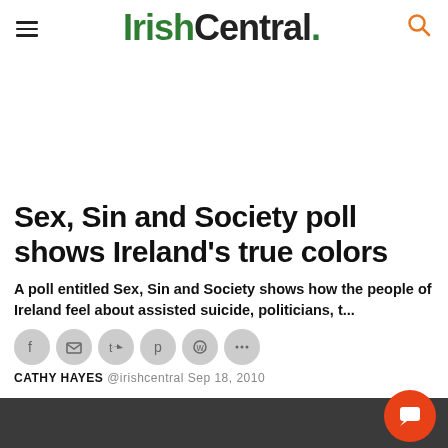IrishCentral.
Sex, Sin and Society poll shows Ireland's true colors
A poll entitled Sex, Sin and Society shows how the people of Ireland feel about assisted suicide, politicians, t...
CATHY HAYES @irishcentral Sep 18, 2010